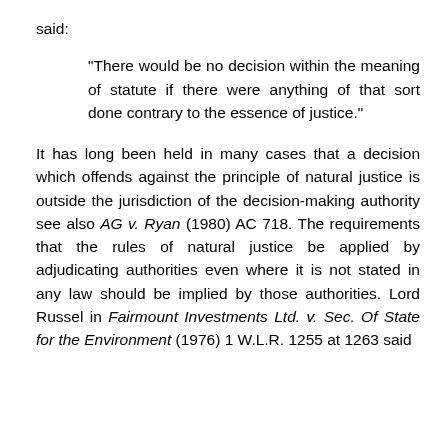said:
"There would be no decision within the meaning of statute if there were anything of that sort done contrary to the essence of justice."
It has long been held in many cases that a decision which offends against the principle of natural justice is outside the jurisdiction of the decision-making authority see also AG v. Ryan (1980) AC 718. The requirements that the rules of natural justice be applied by adjudicating authorities even where it is not stated in any law should be implied by those authorities. Lord Russel in Fairmount Investments Ltd. v. Sec. Of State for the Environment (1976) 1 W.L.R. 1255 at 1263 said